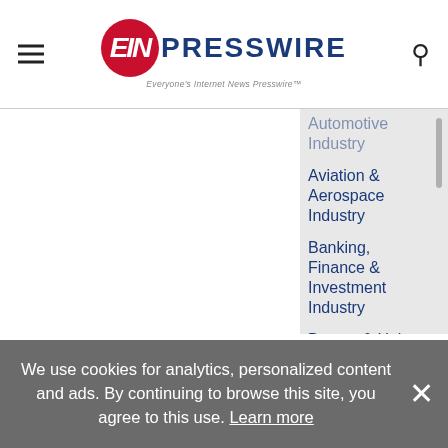EIN Presswire - Everyone's Internet News Presswire
Automotive Industry
Aviation & Aerospace Industry
Banking, Finance & Investment Industry
Beauty & Hair Care
Book Publishing Industry
Building & Construction Industry
Business & Economy
Chemical Industry
Companies
Conferences & Trade Fairs
Consumer Goods
Culture, Society & Lifestyle
Education
We use cookies for analytics, personalized content and ads. By continuing to browse this site, you agree to this use. Learn more